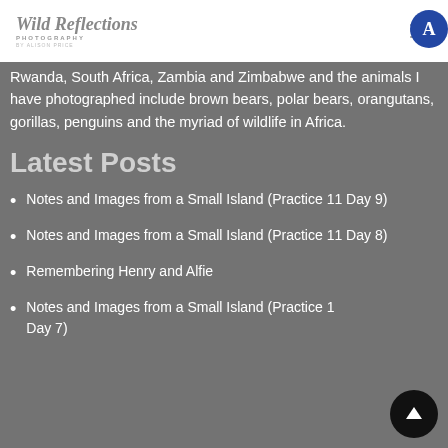Wild Reflections PHOTOGRAPHY BY ALISON PRICE
Rwanda, South Africa, Zambia and Zimbabwe and the animals I have photographed include brown bears, polar bears, orangutans, gorillas, penguins and the myriad of wildlife in Africa.
Latest Posts
Notes and Images from a Small Island (Practice 11 Day 9)
Notes and Images from a Small Island (Practice 11 Day 8)
Remembering Henry and Alfie
Notes and Images from a Small Island (Practice 1... Day 7)